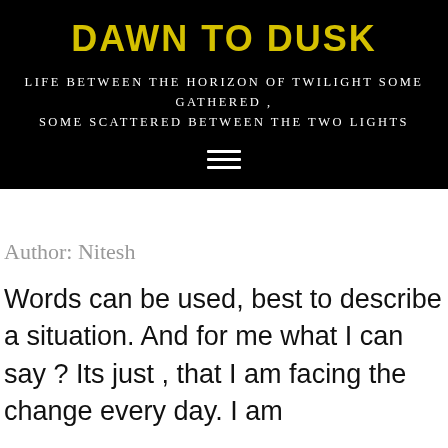DAWN TO DUSK
Life between the horizon of twilight some gathered , some scattered between the two lights
Author: Nitesh
Words can be used, best to describe a situation. And for me what I can say ? Its just , that I am facing the change every day. I am